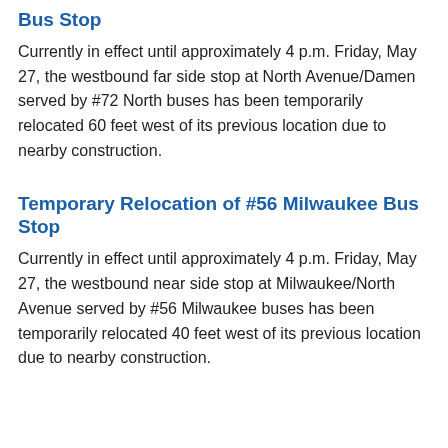Bus Stop
Currently in effect until approximately 4 p.m. Friday, May 27, the westbound far side stop at North Avenue/Damen served by #72 North buses has been temporarily relocated 60 feet west of its previous location due to nearby construction.
Temporary Relocation of #56 Milwaukee Bus Stop
Currently in effect until approximately 4 p.m. Friday, May 27, the westbound near side stop at Milwaukee/North Avenue served by #56 Milwaukee buses has been temporarily relocated 40 feet west of its previous location due to nearby construction.